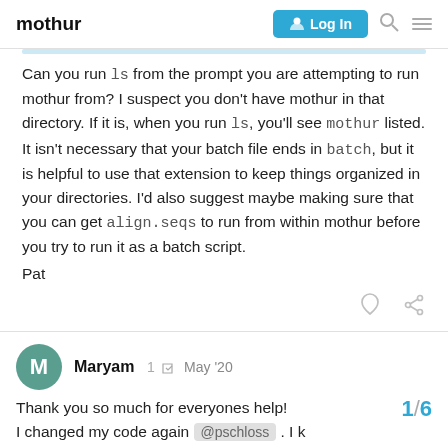mothur | Log In
Can you run ls from the prompt you are attempting to run mothur from? I suspect you don't have mothur in that directory. If it is, when you run ls, you'll see mothur listed. It isn't necessary that your batch file ends in batch, but it is helpful to use that extension to keep things organized in your directories. I'd also suggest maybe making sure that you can get align.seqs to run from within mothur before you try to run it as a batch script.

Pat
Maryam  1  May '20
Thank you so much for everyones help! I changed my code again @pschloss . I k...